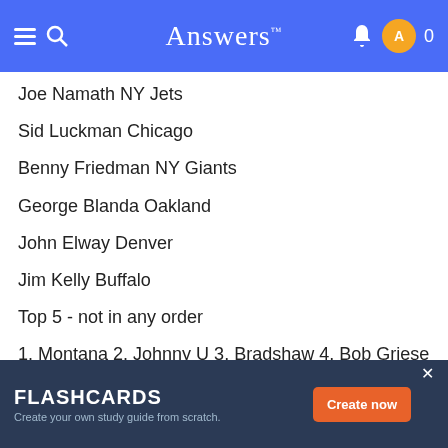Answers
Joe Namath NY Jets
Sid Luckman Chicago
Benny Friedman NY Giants
George Blanda Oakland
John Elway Denver
Jim Kelly Buffalo
Top 5 - not in any order
1. Montana 2. Johnny U 3. Bradshaw 4. Bob Griese 5. Starr - despite his packer status
Next 5
FLASHCARDS - Create your own study guide from scratch. Create now